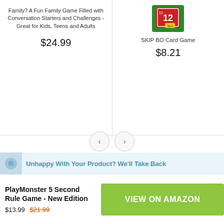Family? A Fun Family Game Filled with Conversation Starters and Challenges - Great for Kids, Teens and Adults
$24.99
[Figure (photo): SKIP BO Card Game product image showing colorful number cards]
SKIP BO Card Game
$8.21
Unhappy With Your Product? We'll Take Back
PlayMonster 5 Second Rule Game - New Edition
$13.99 $21.99
VIEW ON AMAZON